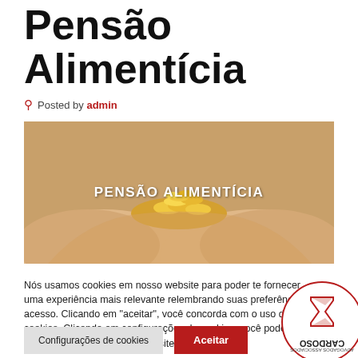Pensão Alimentícia
Posted by admin
[Figure (photo): Hands holding coins with overlay text PENSÃO ALIMENTÍCIA]
Nós usamos cookies em nosso website para poder te fornecer uma experiência mais relevante relembrando suas preferências de acesso. Clicando em "aceitar", você concorda com o uso dos cookies. Clicando em configurações de cookies, você poderá personaliza... deles em nosso site
[Figure (logo): Cardoso Advogados circular stamp logo, partially visible in bottom right corner, shown mirrored/upside down]